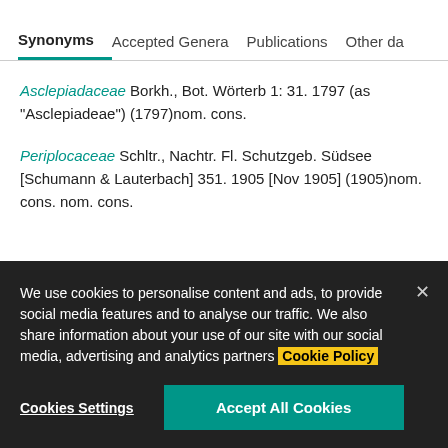Synonyms | Accepted Genera | Publications | Other da
Asclepiadaceae Borkh., Bot. Wörterb 1: 31. 1797 (as "Asclepiadeae") (1797)nom. cons.
Periplocaceae Schltr., Nachtr. Fl. Schutzgeb. Südsee [Schumann & Lauterbach] 351. 1905 [Nov 1905] (1905)nom. cons. nom. cons.
We use cookies to personalise content and ads, to provide social media features and to analyse our traffic. We also share information about your use of our site with our social media, advertising and analytics partners Cookie Policy
Cookies Settings | Accept All Cookies